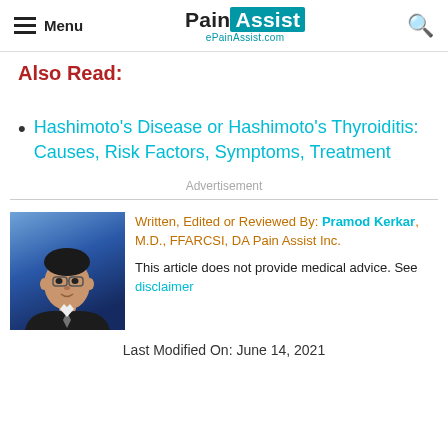Menu | PainAssist ePainAssist.com | Search
Also Read:
Hashimoto's Disease or Hashimoto's Thyroiditis: Causes, Risk Factors, Symptoms, Treatment
Advertisement
[Figure (photo): Headshot of Dr. Pramod Kerkar in formal attire against a blue background]
Written, Edited or Reviewed By: Pramod Kerkar, M.D., FFARCSI, DA Pain Assist Inc.

This article does not provide medical advice. See disclaimer
Last Modified On: June 14, 2021